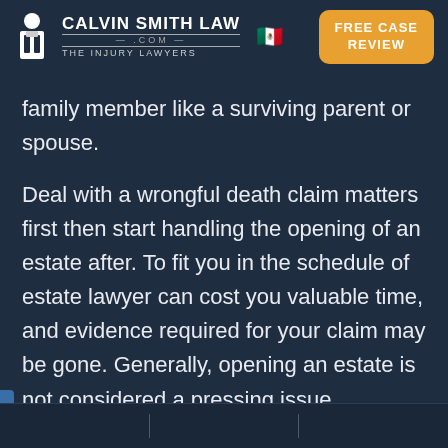CALVIN SMITH LAW .COM. THE INJURY LAWYERS | FREE CASE REVIEW
family member like a surviving parent or spouse.
Deal with a wrongful death claim matters first then start handling the opening of an estate after. To fit you in the schedule of estate lawyer can cost you valuable time, and evidence required for your claim may be gone. Generally, opening an estate is not considered a pressing issue.